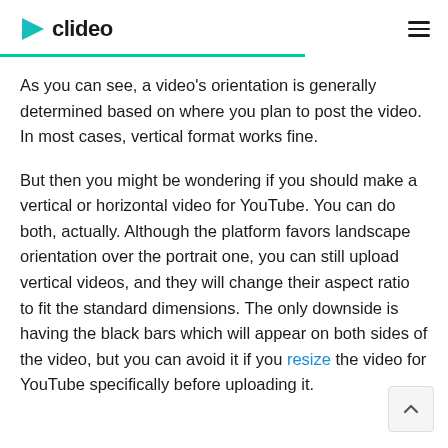clideo
As you can see, a video's orientation is generally determined based on where you plan to post the video. In most cases, vertical format works fine.
But then you might be wondering if you should make a vertical or horizontal video for YouTube. You can do both, actually. Although the platform favors landscape orientation over the portrait one, you can still upload vertical videos, and they will change their aspect ratio to fit the standard dimensions. The only downside is having the black bars which will appear on both sides of the video, but you can avoid it if you resize the video for YouTube specifically before uploading it.